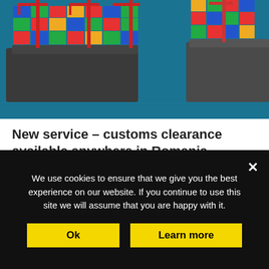[Figure (photo): Aerial view of a cargo port with large container ships docked at a terminal, colorful shipping containers stacked on deck, red cranes visible, teal/dark blue water surrounding the vessels.]
New service – customs clearance available anywhere in Romania
Feb 16, 2022 | News
The range of maritime solutions available to Romanian customers is expanding. The most recent added service is the extension of customs clearance to any customs point in the
We use cookies to ensure that we give you the best experience on our website. If you continue to use this site we will assume that you are happy with it.